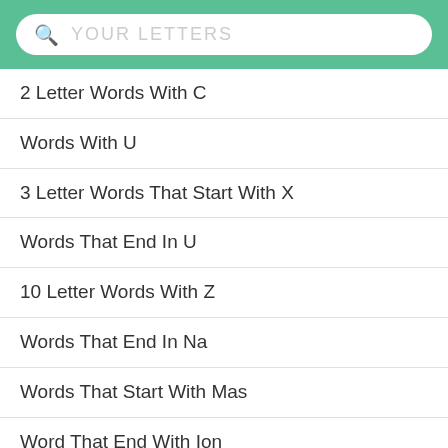[Figure (screenshot): Search bar with magnifying glass icon and placeholder text 'YOUR LETTERS' on a green background header]
2 Letter Words With C
Words With U
3 Letter Words That Start With X
Words That End In U
10 Letter Words With Z
Words That End In Na
Words That Start With Mas
Word That End With Ion
Two Letter Words Beginning With Q